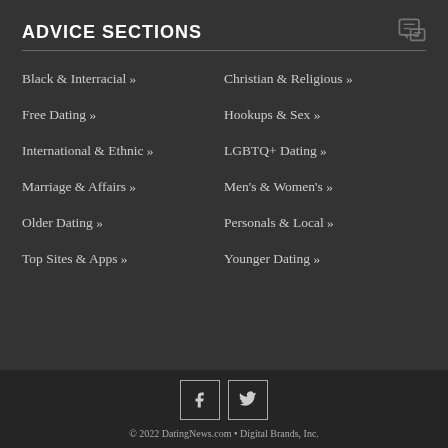ADVICE SECTIONS
Black & Interracial »
Christian & Religious »
Free Dating »
Hookups & Sex »
International & Ethnic »
LGBTQ+ Dating »
Marriage & Affairs »
Men's & Women's »
Older Dating »
Personals & Local »
Top Sites & Apps »
Younger Dating »
[Figure (illustration): Facebook and Twitter social media icons in square outlines]
© 2022 DatingNews.com • Digital Brands, Inc.